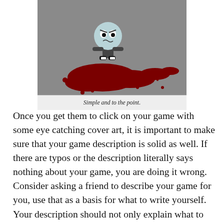[Figure (illustration): A cartoon character (round, light blue face with angry expression) standing over a large dark red blood splatter on a gray floor. The character has small black and white striped shoes and a small dark body.]
Simple and to the point.
Once you get them to click on your game with some eye catching cover art, it is important to make sure that your game description is solid as well. If there are typos or the description literally says nothing about your game, you are doing it wrong. Consider asking a friend to describe your game for you, use that as a basis for what to write yourself. Your description should not only explain what to expect (what type of game it is) but make me want to try it (what makes your game awesome).  This is not a good spot for pointless humor